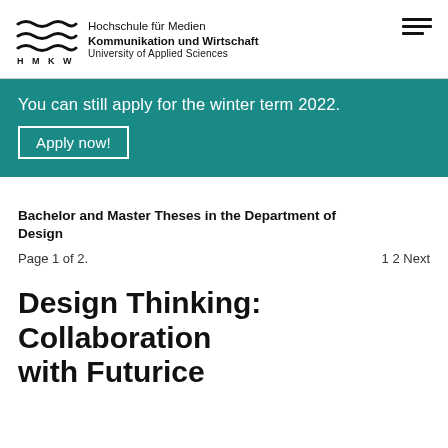[Figure (logo): HMKW logo with wave lines and university name text]
You can still apply for the winter term 2022.
Apply now!
Bachelor and Master Theses in the Department of Design
Page 1 of 2.    1 2 Next
Design Thinking: Collaboration with Futurice